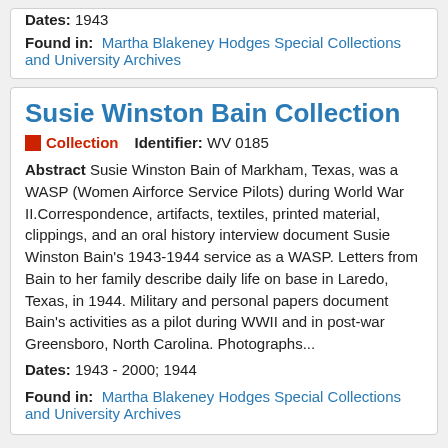Dates: 1943
Found in: Martha Blakeney Hodges Special Collections and University Archives
Susie Winston Bain Collection
Collection   Identifier: WV 0185
Abstract Susie Winston Bain of Markham, Texas, was a WASP (Women Airforce Service Pilots) during World War II.Correspondence, artifacts, textiles, printed material, clippings, and an oral history interview document Susie Winston Bain's 1943-1944 service as a WASP. Letters from Bain to her family describe daily life on base in Laredo, Texas, in 1944. Military and personal papers document Bain's activities as a pilot during WWII and in post-war Greensboro, North Carolina. Photographs...
Dates: 1943 - 2000; 1944
Found in: Martha Blakeney Hodges Special Collections and University Archives